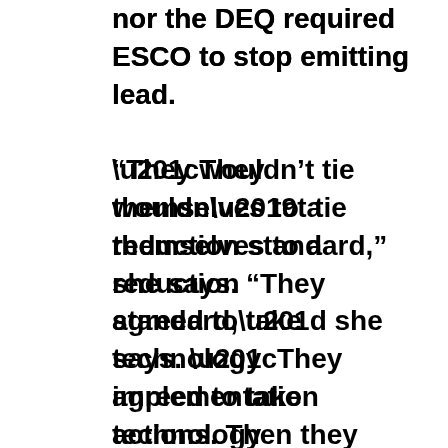nor the DEQ required ESCO to stop emitting lead.

“They wouldn’t tie themselves to a reduction standard,” she says. “They agreed to take technology implementation actions. Then they agreed that we would be able to verify that each of those actions was implemented fully and was meeting intended goals. They would not agree to a